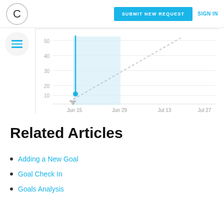C  SUBMIT NEW REQUEST  SIGN IN
[Figure (line-chart): Line chart showing a steep blue line dropping from ~50 to ~9 near Jun 15, with a light blue shaded region and a dashed diagonal line rising from lower left to upper right across the chart area (trend/goal line). The shaded area extends from Jun 15 to Jun 29.]
Related Articles
Adding a New Goal
Goal Check In
Goals Analysis